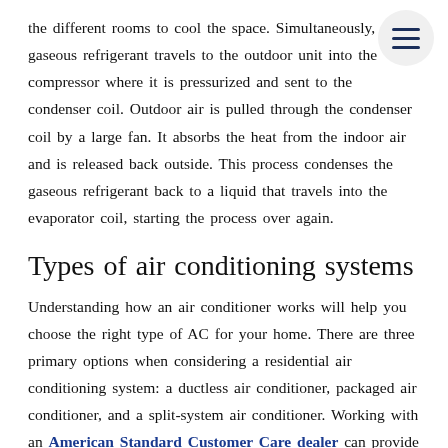the different rooms to cool the space. Simultaneously, the gaseous refrigerant travels to the outdoor unit into the compressor where it is pressurized and sent to the condenser coil. Outdoor air is pulled through the condenser coil by a large fan. It absorbs the heat from the indoor air and is released back outside. This process condenses the gaseous refrigerant back to a liquid that travels into the evaporator coil, starting the process over again.
Types of air conditioning systems
Understanding how an air conditioner works will help you choose the right type of AC for your home. There are three primary options when considering a residential air conditioning system: a ductless air conditioner, packaged air conditioner, and a split-system air conditioner. Working with an American Standard Customer Care dealer can provide different options to improve your home's comfort.